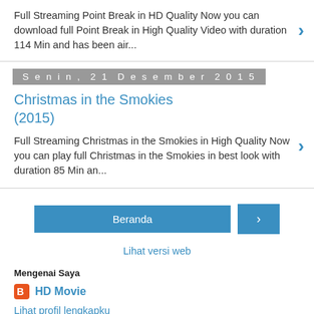Full Streaming Point Break in HD Quality Now you can download full Point Break in High Quality Video with duration 114 Min and has been air...
Senin, 21 Desember 2015
Christmas in the Smokies (2015)
Full Streaming Christmas in the Smokies in High Quality Now you can play full Christmas in the Smokies in best look with duration 85 Min an...
Beranda
Lihat versi web
Mengenai Saya
HD Movie
Lihat profil lengkapku
Diberdayakan oleh Blogger.